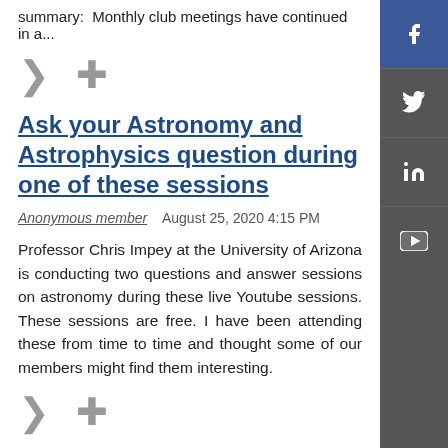summary:  Monthly club meetings have continued in a...
Ask your Astronomy and Astrophysics question during one of these sessions
Anonymous member    August 25, 2020 4:15 PM
Professor Chris Impey at the University of Arizona is conducting two questions and answer sessions on astronomy during these live Youtube sessions. These sessions are free. I have been attending these from time to time and thought some of our members might find them interesting.